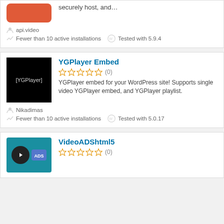securely host, and...
api.video
Fewer than 10 active installations  Tested with 5.9.4
YGPlayer Embed
(0)
YGPlayer embed for your WordPress site! Supports single video YGPlayer embed, and YGPlayer playlist.
Nikadimas
Fewer than 10 active installations  Tested with 5.0.17
VideoADShtml5
(0)